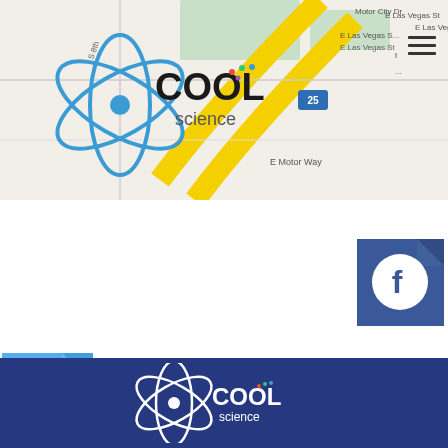[Figure (screenshot): Cool Science logo with atom graphic overlaid on a Google Maps view showing street map with highway 25, E Motor Way, E Las Vegas St, Motor City Dr. Blue atom/orbital logo with COOL in bold black and 'science' in lighter text. Hamburger menu icon in top right corner.]
[Figure (logo): Facebook social media icon - blue square with folded corner effect and white Facebook 'f' logo circle]
[Figure (logo): Twitter social media icon - light blue square with folded corner effect and white Twitter bird logo]
[Figure (logo): Cool Science white logo on dark blue background footer - atom orbital graphic with COOL in bold and 'science' in smaller text below]